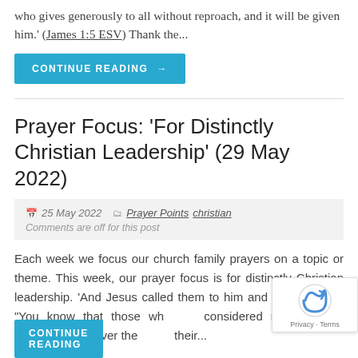who gives generously to all without reproach, and it will be given him.' (James 1:5 ESV) Thank the...
CONTINUE READING →
Prayer Focus: 'For Distinctly Christian Leadership' (29 May 2022)
25 May 2022   Prayer Points christian   Comments are off for this post
Each week we focus our church family prayers on a topic or theme. This week, our prayer focus is for distinctly Christian leadership. 'And Jesus called them to him and said to them, "You know that those who are considered rulers of the Gentiles lord it over their...